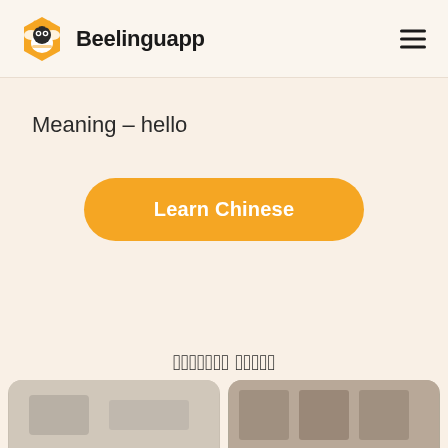Beelinguapp
Meaning – hello
Learn Chinese
𝗥𝗘𝗟𝗔𝗧𝗘𝗗 𝗦𝗧𝗢𝗥𝗜𝗘𝗦
[Figure (photo): Two thumbnail images partially visible at bottom of screen]
[Figure (logo): Beelinguapp bee logo — orange hexagon with bee face]